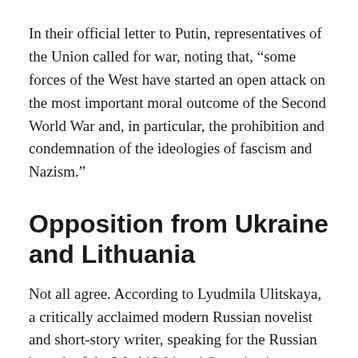In their official letter to Putin, representatives of the Union called for war, noting that, “some forces of the West have started an open attack on the most important moral outcome of the Second World War and, in particular, the prohibition and condemnation of the ideologies of fascism and Nazism.”
Opposition from Ukraine and Lithuania
Not all agree. According to Lyudmila Ulitskaya, a critically acclaimed modern Russian novelist and short-story writer, speaking for the Russian branch of the World Writers’ Organization (WWO), noted that writers believe that “the writer should not call for war,” as was stated in the letter sent to Putin by the Writers’ Union of Russia.